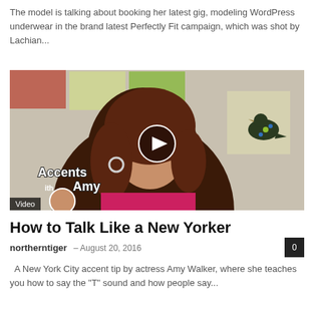The model is talking about booking her latest gig, modeling WordPress underwear in the brand latest Perfectly Fit campaign, which was shot by Lachian...
[Figure (screenshot): Video thumbnail showing a woman with auburn hair smiling, with 'Accents with Amy' text overlay in the lower left, a decorative bird artwork on the wall in the background, a play button circle in the center, and a 'Video' label in the bottom left corner.]
How to Talk Like a New Yorker
northerntiger – August 20, 2016
A New York City accent tip by actress Amy Walker, where she teaches you how to say the "T" sound and how people say...